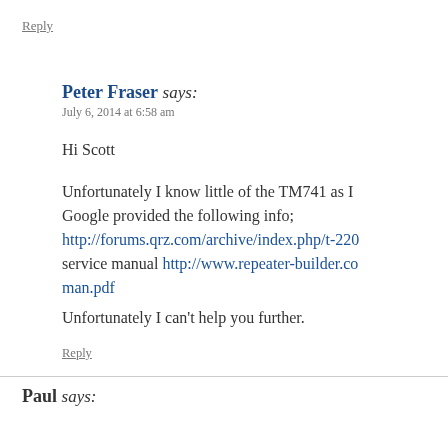Reply
Peter Fraser says:
July 6, 2014 at 6:58 am
Hi Scott
Unfortunately I know little of the TM741 as I Google provided the following info; http://forums.qrz.com/archive/index.php/t-220 service manual http://www.repeater-builder.co man.pdf
Unfortunately I can’t help you further.
Reply
Paul says: